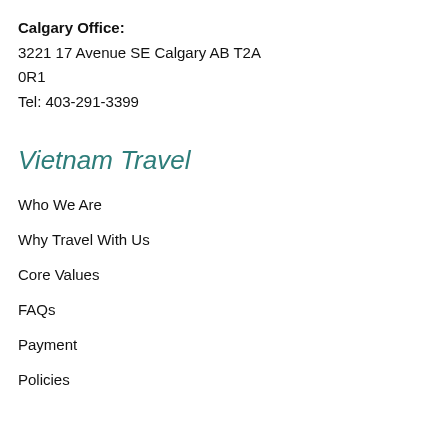Calgary Office:
3221 17 Avenue SE Calgary AB T2A 0R1
Tel: 403-291-3399
Vietnam Travel
Who We Are
Why Travel With Us
Core Values
FAQs
Payment
Policies